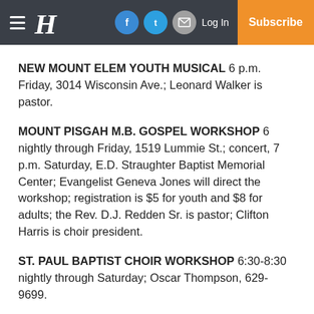Navigation header with hamburger menu, logo, social icons (Facebook, Twitter, Email), Log In, and Subscribe button
NEW MOUNT ELEM YOUTH MUSICAL 6 p.m. Friday, 3014 Wisconsin Ave.; Leonard Walker is pastor.
MOUNT PISGAH M.B. GOSPEL WORKSHOP 6 nightly through Friday, 1519 Lummie St.; concert, 7 p.m. Saturday, E.D. Straughter Baptist Memorial Center; Evangelist Geneva Jones will direct the workshop; registration is $5 for youth and $8 for adults; the Rev. D.J. Redden Sr. is pastor; Clifton Harris is choir president.
ST. PAUL BAPTIST CHOIR WORKSHOP 6:30-8:30 nightly through Saturday; Oscar Thompson, 629-9699.